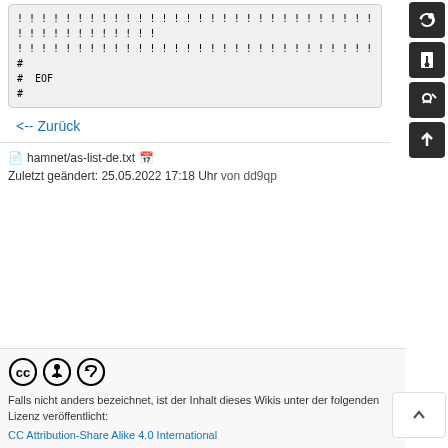! ! ! ! ! ! ! ! ! ! ! ! ! ! ! ! ! ! ! ! ! ! ! ! ! ! ! ! ! ! ! ! ! ! ! ! ! ! ! ! ! !
! ! ! ! ! ! ! ! ! ! ! ! ! ! ! ! ! ! ! ! ! ! ! ! ! ! ! ! ! !
#
#  EOF
#
<-- Zurück
hamnet/as-list-de.txt   Zuletzt geändert: 25.05.2022 17:18 Uhr von dd9qp
[Figure (logo): CC Attribution-Share Alike license icons: CC circle, person/BY circle, share-alike circle]
Falls nicht anders bezeichnet, ist der Inhalt dieses Wikis unter der folgenden Lizenz veröffentlicht:
CC Attribution-Share Alike 4.0 International